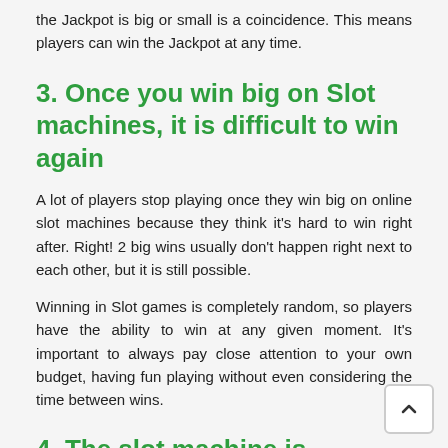the Jackpot is big or small is a coincidence. This means players can win the Jackpot at any time.
3. Once you win big on Slot machines, it is difficult to win again
A lot of players stop playing once they win big on online slot machines because they think it's hard to win right after. Right! 2 big wins usually don't happen right next to each other, but it is still possible.
Winning in Slot games is completely random, so players have the ability to win at any given moment. It's important to always pay close attention to your own budget, having fun playing without even considering the time between wins.
4. The slot machine is unstable
A lot of people often believe that slot machines, roulette, poker have a lack of stability. This is a wrong idea. If a game